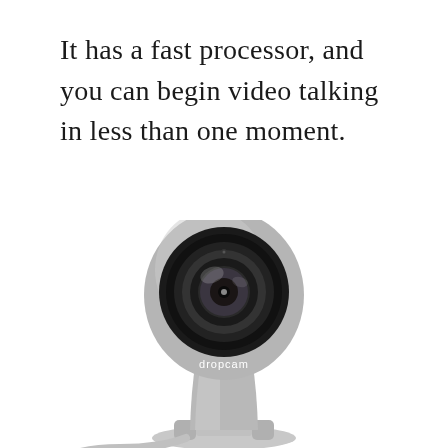It has a fast processor, and you can begin video talking in less than one moment.
[Figure (photo): A Dropcam security camera with a round black lens and silver/grey body mounted on a hinge base with a cable, photographed from the front on a white background.]